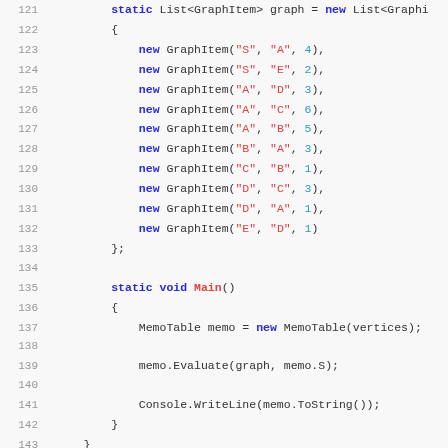Code listing lines 121-143, C# code showing GraphItem list initialization and Main method